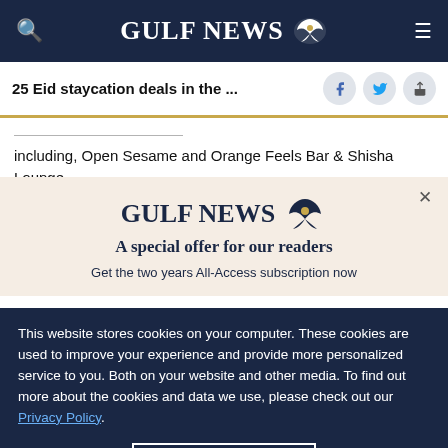GULF NEWS
25 Eid staycation deals in the ...
including, Open Sesame and Orange Feels Bar & Shisha Lounge
GULF NEWS — A special offer for our readers
Get the two years All-Access subscription now
This website stores cookies on your computer. These cookies are used to improve your experience and provide more personalized service to you. Both on your website and other media. To find out more about the cookies and data we use, please check out our Privacy Policy.